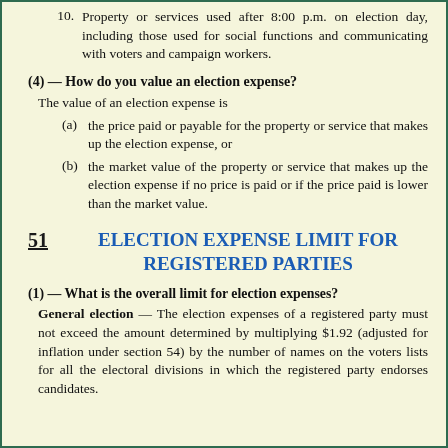10. Property or services used after 8:00 p.m. on election day, including those used for social functions and communicating with voters and campaign workers.
(4) — How do you value an election expense?
The value of an election expense is
(a) the price paid or payable for the property or service that makes up the election expense, or
(b) the market value of the property or service that makes up the election expense if no price is paid or if the price paid is lower than the market value.
51  ELECTION EXPENSE LIMIT FOR REGISTERED PARTIES
(1) — What is the overall limit for election expenses?
General election — The election expenses of a registered party must not exceed the amount determined by multiplying $1.92 (adjusted for inflation under section 54) by the number of names on the voters lists for all the electoral divisions in which the registered party endorses candidates.